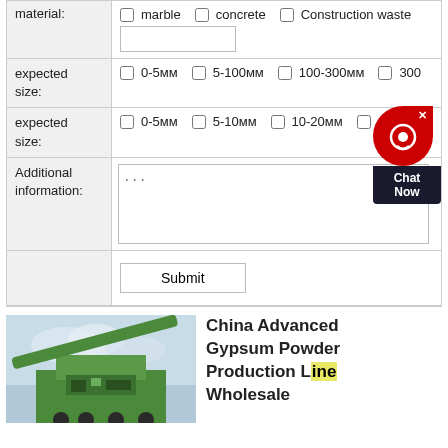| Field | Options |
| --- | --- |
| material: | marble  concrete  Construction waste  [text input] |
| expected size: | 0-5мм  5-100мм  100-300мм  300+ |
| expected size: | 0-5мм  5-10мм  10-20мм  [more] |
| Additional information: | ... [textarea] |
|  | Submit |
[Figure (photo): Green industrial machinery / crane equipment against a cloudy sky]
China Advanced Gypsum Powder Production Line Wholesale